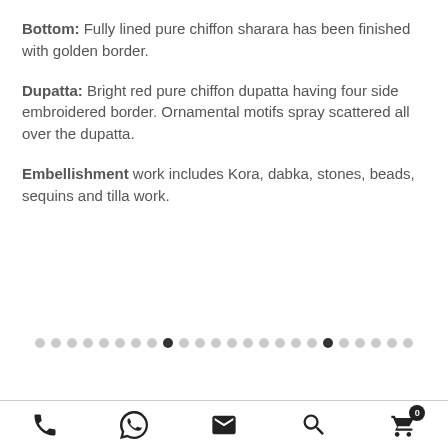Bottom: Fully lined pure chiffon sharara has been finished with golden border.
Dupatta: Bright red pure chiffon dupatta having four side embroidered border. Ornamental motifs spray scattered all over the dupatta.
Embellishment work includes Kora, dabka, stones, beads, sequins and tilla work.
[Figure (other): Pagination dots row with two active (filled black) dots among many grey dots]
Phone, WhatsApp, Email, Search, Cart (0) navigation icons